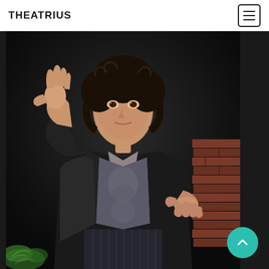THEATRIUS
[Figure (photo): A male theater actor in period costume — dark jacket, ornate brocade vest, pinstripe trousers — sitting and gesturing expressively with both hands raised, palms outward. Dark dramatic stage lighting with brick wall prop visible on the right. Ivy or foliage visible at lower left.]